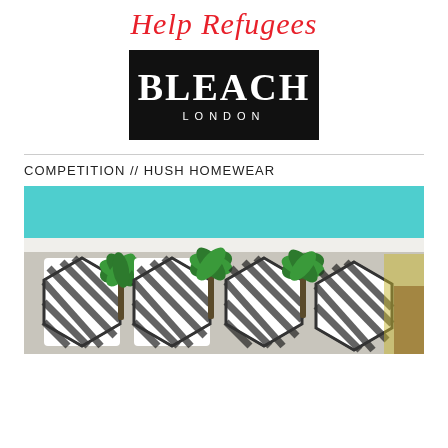[Figure (logo): Help Refugees logo in red cursive/script font]
[Figure (logo): Bleach London logo — white bold serif text on black background rectangle]
COMPETITION // HUSH HOMEWEAR
[Figure (photo): Aerial view of a pool area with striped black-and-white hexagonal umbrellas and palm trees on a pool deck, teal pool visible at top]